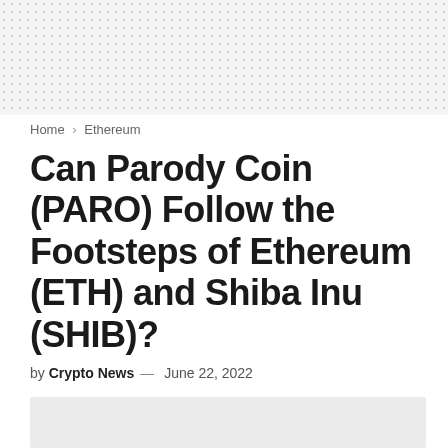Home > Ethereum
Can Parody Coin (PARO) Follow the Footsteps of Ethereum (ETH) and Shiba Inu (SHIB)?
by Crypto News — June 22, 2022
[Figure (photo): Article header image placeholder, light gray background]